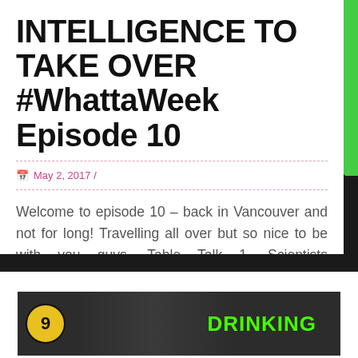INTELLIGENCE TO TAKE OVER #WhattaWeek Episode 10
May 2, 2017 /
Welcome to episode 10 – back in Vancouver and not for long! Travelling all over but so nice to be with you guys. Table Talk 1. Scientists successfully develop artificial womb for sheep, hoping to try on premature babies 2. Doritos to release a chip bag that you can listen to the Guardians of the Galaxy Soundtrack [...]
[Figure (screenshot): Thumbnail image showing episode 9, with a yellow circle numbered 9 and green text reading DRINKING on dark background]